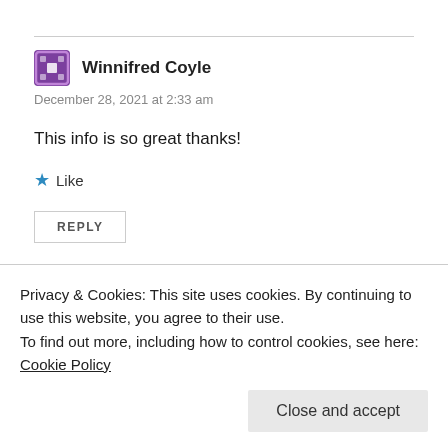Winnifred Coyle
December 28, 2021 at 2:33 am
This info is so great thanks!
★ Like
REPLY
Privacy & Cookies: This site uses cookies. By continuing to use this website, you agree to their use.
To find out more, including how to control cookies, see here: Cookie Policy
Close and accept